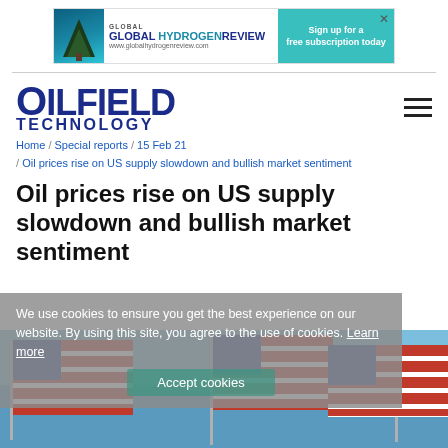[Figure (infographic): Global Hydrogen Review advertisement banner. Shows magazine cover image on left, logo text 'GLOBAL HYDROGENREVIEW' in center, and teal button on right reading 'Sign up for a free subscription today' with URL www.globalhydrogenreview.com]
[Figure (logo): Oilfield Technology magazine logo in bold dark blue text. Large 'OILFIELD' on top line, smaller 'TECHNOLOGY' below.]
Home / Special reports / 15 Feb 21 / Oil prices rise on US supply slowdown and bullish market sentiment
Oil prices rise on US supply slowdown and bullish market sentiment
We use cookies to ensure you get the best experience on our website. By using this site, you agree to the use of cookies. Learn more
[Figure (photo): Three American flags waving against a clear blue sky.]